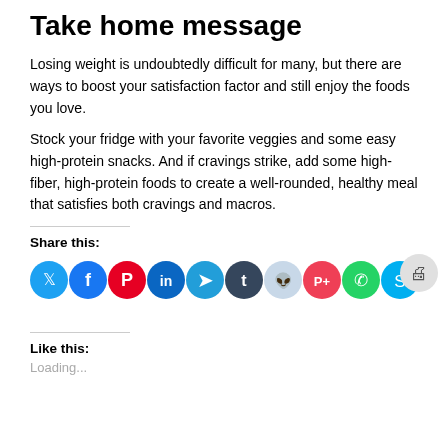Take home message
Losing weight is undoubtedly difficult for many, but there are ways to boost your satisfaction factor and still enjoy the foods you love.
Stock your fridge with your favorite veggies and some easy high-protein snacks. And if cravings strike, add some high-fiber, high-protein foods to create a well-rounded, healthy meal that satisfies both cravings and macros.
Share this:
[Figure (infographic): Row of 11 social media share buttons: Twitter (blue), Facebook (blue), Pinterest (red), LinkedIn (dark blue), Telegram (blue), Tumblr (dark navy), Reddit (light blue), Pocket (red), WhatsApp (green), Skype (blue), Print (light gray)]
Like this:
Loading...